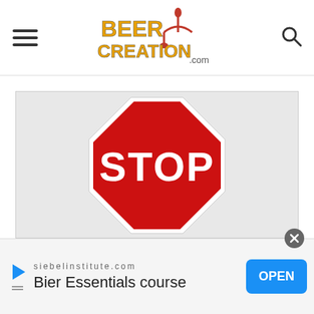[Figure (logo): Beer Creation .com logo with beer tap illustration]
[Figure (infographic): Stop sign image above text 'BEFORE YOU BREW YOUR' on a light grey background]
siebelinstitute.com
Bier Essentials course
OPEN